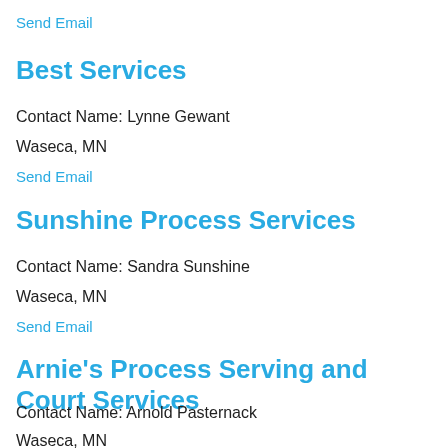Send Email
Best Services
Contact Name: Lynne Gewant
Waseca, MN
Send Email
Sunshine Process Services
Contact Name: Sandra Sunshine
Waseca, MN
Send Email
Arnie's Process Serving and Court Services
Contact Name: Arnold Pasternack
Waseca, MN